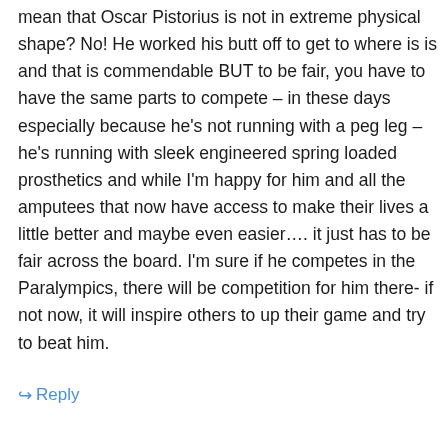mean that Oscar Pistorius is not in extreme physical shape? No! He worked his butt off to get to where is is and that is commendable BUT to be fair, you have to have the same parts to compete – in these days especially because he's not running with a peg leg – he's running with sleek engineered spring loaded prosthetics and while I'm happy for him and all the amputees that now have access to make their lives a little better and maybe even easier…. it just has to be fair across the board. I'm sure if he competes in the Paralympics, there will be competition for him there- if not now, it will inspire others to up their game and try to beat him.
↳ Reply